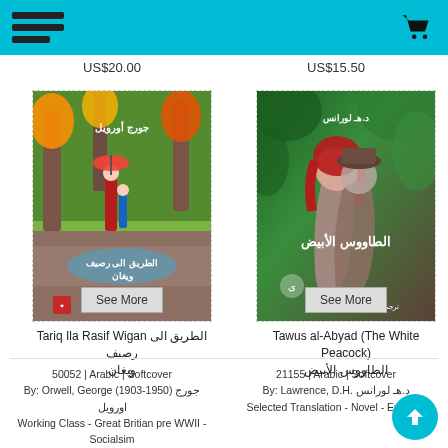[Figure (screenshot): Website header with teal background, hamburger menu icon on left, shopping cart icon on right]
US$20.00
US$15.50
[Figure (photo): Book cover: الطريق الى رصيف ويغان - shows two people walking under umbrella in autumn park]
[Figure (photo): Book cover: الطاووس الأبيض - shows romantic couple embracing]
Tariq Ila Rasif Wigan الطريق الى رصيف ويغان
Tawus al-Abyad (The White Peacock) الطاووس الأبيض
50052 | Arabic | Softcover
By: Orwell, George (1903-1950) جورج اورويل
Working Class - Great Britian pre WWII - Socialsim
21155 | Arabic | Softcover
By: Lawrence, D.H. د.هـ لورانس
Selected Translation - Novel - England